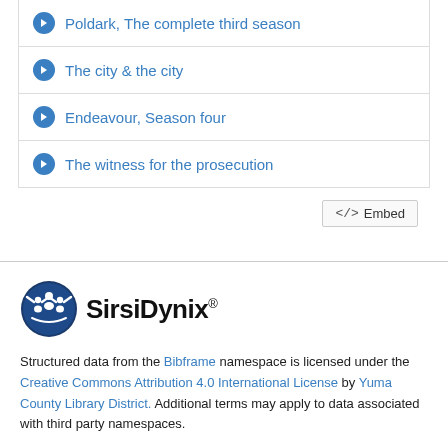Poldark, The complete third season
The city & the city
Endeavour, Season four
The witness for the prosecution
[Figure (logo): SirsiDynix logo with circular emblem and bold text]
Structured data from the Bibframe namespace is licensed under the Creative Commons Attribution 4.0 International License by Yuma County Library District. Additional terms may apply to data associated with third party namespaces.